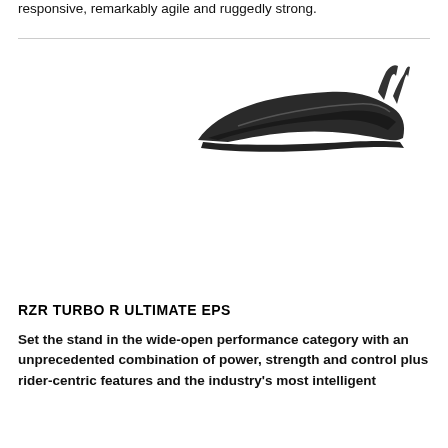responsive, remarkably agile and ruggedly strong.
[Figure (photo): Side profile view of a black RZR off-road vehicle roof/upper body, showing the sleek curved roofline and roll cage structure against a white background.]
RZR TURBO R ULTIMATE EPS
Set the stand in the wide-open performance category with an unprecedented combination of power, strength and control plus rider-centric features and the industry's most intelligent